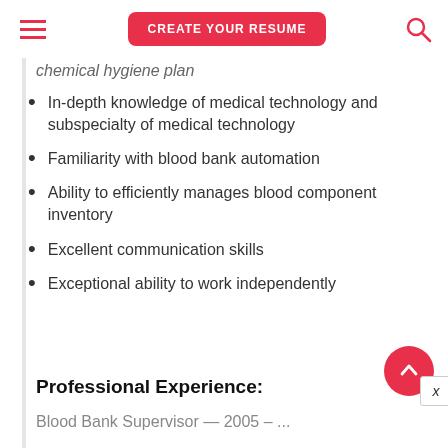CREATE YOUR RESUME
chemical hygiene plan
In-depth knowledge of medical technology and subspecialty of medical technology
Familiarity with blood bank automation
Ability to efficiently manages blood component inventory
Excellent communication skills
Exceptional ability to work independently
Professional Experience:
Blood Bank Supervisor — 2005 – ...